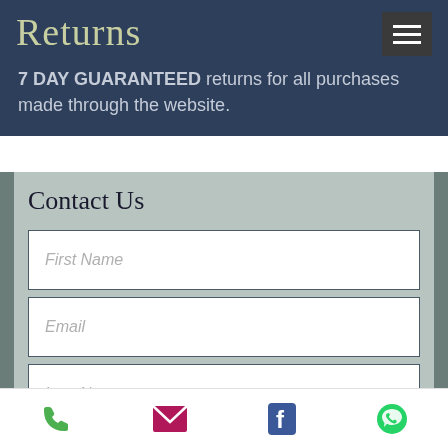Returns
7 DAY GUARANTEED returns for all purchases made through the website.
Contact Us
First Name
Email
Last Name